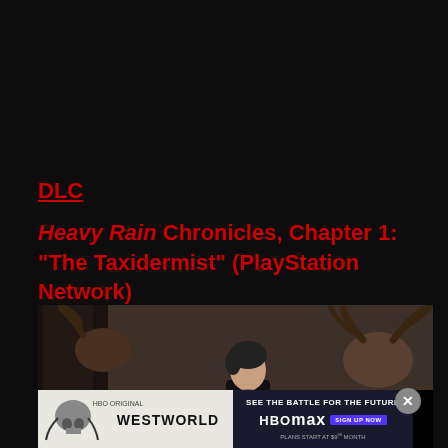DLC
Heavy Rain Chronicles, Chapter 1: “The Taxidermist” (PlayStation Network)
[Figure (photo): Dark scene showing a female character with short dark hair in a black outfit standing among taxidermied animal heads (deer/elk) mounted on walls in a dim room.]
[Figure (infographic): Advertisement banner for HBO Max's Westworld series. Left side shows Westworld logo with skull imagery on light background. Right side shows 'SEE THE BATTLE FOR THE FUTURE' text with HBO Max logo and sign up button on dark background. Plans start at $9.99/month.]